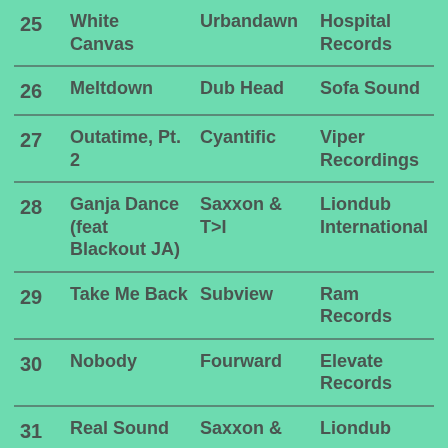| # | Title | Artist | Label |
| --- | --- | --- | --- |
| 25 | White Canvas | Urbandawn | Hospital Records |
| 26 | Meltdown | Dub Head | Sofa Sound |
| 27 | Outatime, Pt. 2 | Cyantific | Viper Recordings |
| 28 | Ganja Dance (feat Blackout JA) | Saxxon & T>I | Liondub International |
| 29 | Take Me Back | Subview | Ram Records |
| 30 | Nobody | Fourward | Elevate Records |
| 31 | Real Sound | Saxxon & | Liondub |